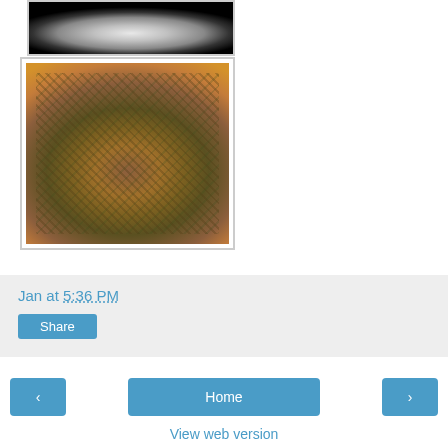[Figure (photo): Partial view of a white bowl on a black background (top portion cropped).]
[Figure (photo): A brown/orange plate with a mound of crumbly, mixed food (appears to be a stuffing or grain-based dish with green herbs).]
Jan at 5:36 PM
Share
Home
View web version